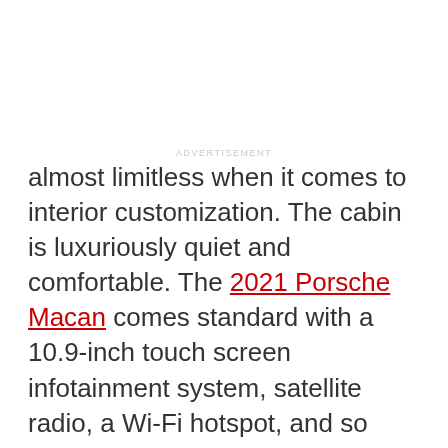ADVERTISEMENT
almost limitless when it comes to interior customization. The cabin is luxuriously quiet and comfortable. The 2021 Porsche Macan comes standard with a 10.9-inch touch screen infotainment system, satellite radio, a Wi-Fi hotspot, and so much more.
ADVERTISEMENT